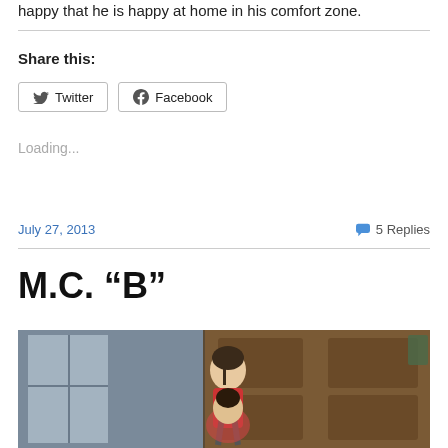happy that he is happy at home in his comfort zone.
Share this:
Twitter
Facebook
Loading...
July 27, 2013
5 Replies
M.C. “B”
[Figure (photo): Photo of children standing in front of a wooden door and window]